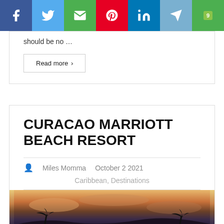[Figure (infographic): Social sharing bar with icons for Facebook, Twitter, Email, Pinterest, LinkedIn, Telegram, and a numbered share button (9)]
should be no …
Read more ›
CURACAO MARRIOTT BEACH RESORT
Miles Momma   October 2 2021
Caribbean, Destinations
[Figure (photo): Sunset sky with clouds and silhouetted palm trees at the Curacao Marriott Beach Resort]